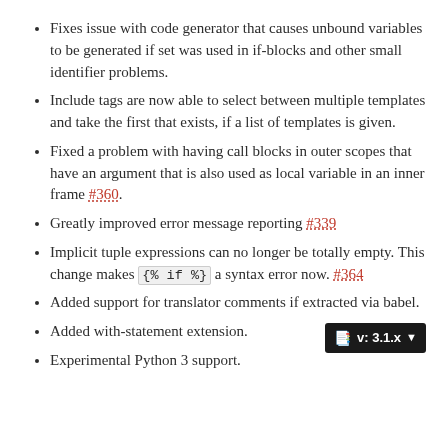Fixes issue with code generator that causes unbound variables to be generated if set was used in if-blocks and other small identifier problems.
Include tags are now able to select between multiple templates and take the first that exists, if a list of templates is given.
Fixed a problem with having call blocks in outer scopes that have an argument that is also used as local variable in an inner frame #360.
Greatly improved error message reporting #339
Implicit tuple expressions can no longer be totally empty. This change makes {% if %} a syntax error now. #364
Added support for translator comments if extracted via babel.
Added with-statement extension.
Experimental Python 3 support.